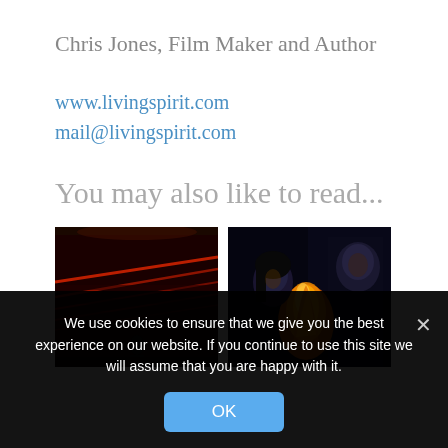Chris Jones, Film Maker and Author
www.livingspirit.com
mail@livingspirit.com
You may also like to read...
[Figure (photo): Dark cinema/theater interior with red accent lighting along rows]
[Figure (photo): Dark scene showing a woman and a man with fire/flame in foreground]
We use cookies to ensure that we give you the best experience on our website. If you continue to use this site we will assume that you are happy with it.